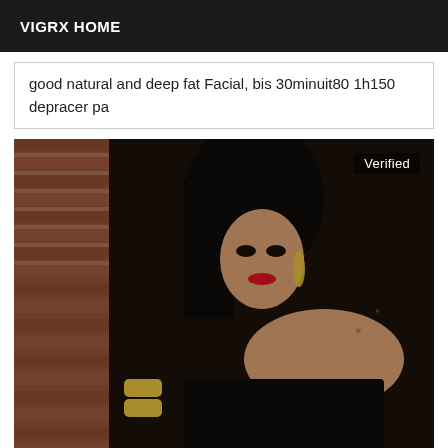VIGRX HOME
good natural and deep fat Facial, bis 30minuit80 1h150 depracer pa
[Figure (photo): A woman with dark hair, red lipstick, and chandelier earrings, wearing a black corset and gold bracelet, posing against a brick wall. The image has a 'Verified' badge in the top right corner.]